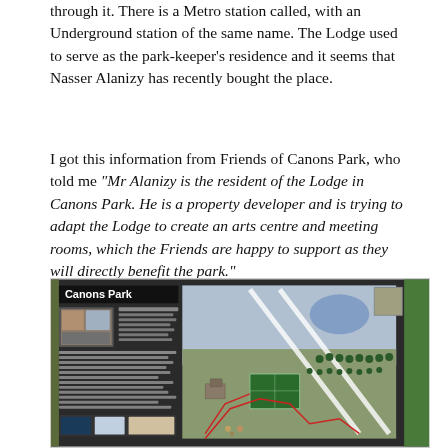through it. There is a Metro station called, with an Underground station of the same name. The Lodge used to serve as the park-keeper's residence and it seems that Nasser Alanizy has recently bought the place.
I got this information from Friends of Canons Park, who told me "Mr Alanizy is the resident of the Lodge in Canons Park. He is a property developer and is trying to adapt the Lodge to create an arts centre and meeting rooms, which the Friends are happy to support as they will directly benefit the park."
[Figure (photo): Photograph of a Canons Park information board displayed outdoors. The board has a dark background and shows a map/plan of Canons Park with the title 'Canons Park' in white bold text at the top left. The board includes small photos and text panels on the left side, and a detailed illustrated aerial-view map of the park on the right side showing paths, trees, and features. The board is photographed against green foliage background.]